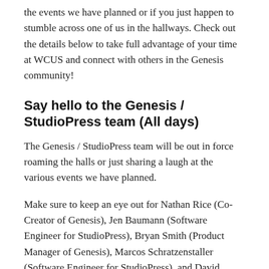the events we have planned or if you just happen to stumble across one of us in the hallways. Check out the details below to take full advantage of your time at WCUS and connect with others in the Genesis community!
Say hello to the Genesis / StudioPress team (All days)
The Genesis / StudioPress team will be out in force roaming the halls or just sharing a laugh at the various events we have planned.
Make sure to keep an eye out for Nathan Rice (Co-Creator of Genesis), Jen Baumann (Software Engineer for StudioPress), Bryan Smith (Product Manager of Genesis), Marcos Schratzenstaller (Software Engineer for StudioPress), and David Vogelpohl (me / StudioPress Brand Lead) to share